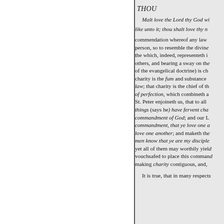THOU
Malt love the Lord thy God wi... like unto it; thou shalt love thy n... commendation whereof any law person, so to resemble the divine the which, indeed, representeth i others, and bearing a sway on th of the evangelical doctrine) is ch charity is the fum and substance law; that charity is the chief of th of perfection, which combineth a St. Peter enjoineth us, that to all things (says he) have fervent cha commandment of God; and our L commandment, that ye love one a love one another; and maketh th men know that ye are my disciple yet all of them may worthily yiel vouchsafed to place this comman making charity contiguous, and,

It is true, that in many respect